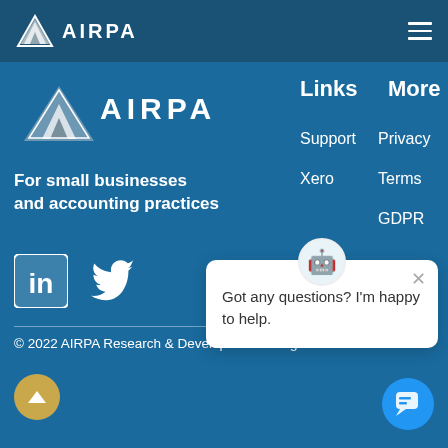AIRPA
[Figure (logo): AIRPA logo with mountain/chevron icon and wordmark in white, top navigation bar with dark blue background and hamburger menu]
[Figure (logo): AIRPA logo (large) with mountain/chevron icon and wordmark in white on blue background]
For small businesses and accounting practices
Links
More
Support
Privacy
Xero
Terms
GDPR
[Figure (logo): LinkedIn icon (white on blue square) and Twitter bird icon (white) social media links]
[Figure (illustration): Chat popup with avatar emoji, close button X, and text 'Got any questions? I'm happy to help.']
© 2022 AIRPA Research & Development. All rights reserved.